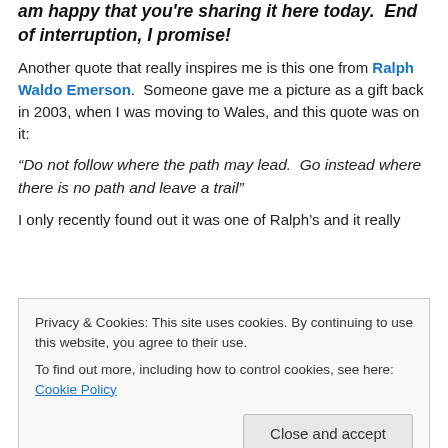am happy that you're sharing it here today.  End of interruption, I promise!
Another quote that really inspires me is this one from Ralph Waldo Emerson.  Someone gave me a picture as a gift back in 2003, when I was moving to Wales, and this quote was on it:
“Do not follow where the path may lead.  Go instead where there is no path and leave a trail”
I only recently found out it was one of Ralph’s and it really
Privacy & Cookies: This site uses cookies. By continuing to use this website, you agree to their use.
To find out more, including how to control cookies, see here: Cookie Policy
Close and accept
she had been involved in a terrible car crash. She used